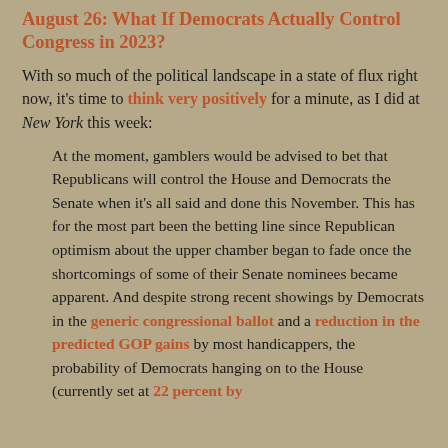August 26: What If Democrats Actually Control Congress in 2023?
With so much of the political landscape in a state of flux right now, it's time to think very positively for a minute, as I did at New York this week:
At the moment, gamblers would be advised to bet that Republicans will control the House and Democrats the Senate when it's all said and done this November. This has for the most part been the betting line since Republican optimism about the upper chamber began to fade once the shortcomings of some of their Senate nominees became apparent. And despite strong recent showings by Democrats in the generic congressional ballot and a reduction in the predicted GOP gains by most handicappers, the probability of Democrats hanging on to the House (currently set at 22 percent by The Time Ele...